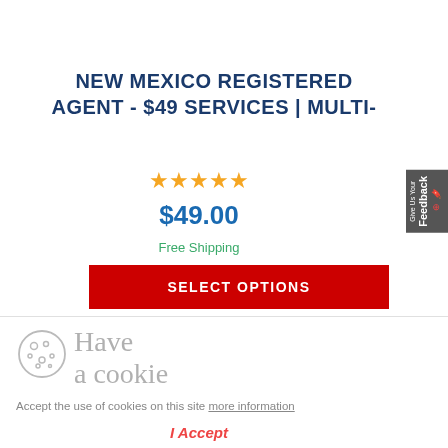NEW MEXICO REGISTERED AGENT - $49 SERVICES | MULTI-
★★★★★
$49.00
Free Shipping
SELECT OPTIONS
[Figure (illustration): Cookie icon - circular cookie with chocolate chip dots]
Have a cookie
Accept the use of cookies on this site more information
I Accept